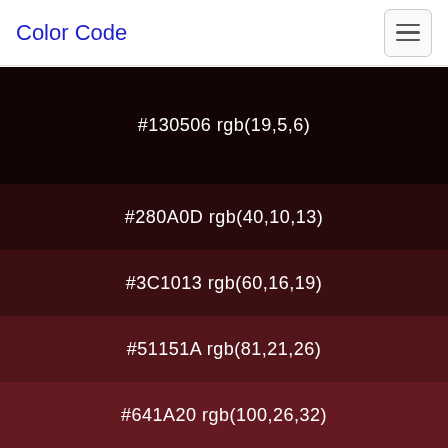Color Code
[Figure (infographic): Color swatches showing dark red color palette with hex codes and RGB values: #130506 rgb(19,5,6), #280A0D rgb(40,10,13), #3C1013 rgb(60,16,19), #51151A rgb(81,21,26), #641A20 rgb(100,26,32)]